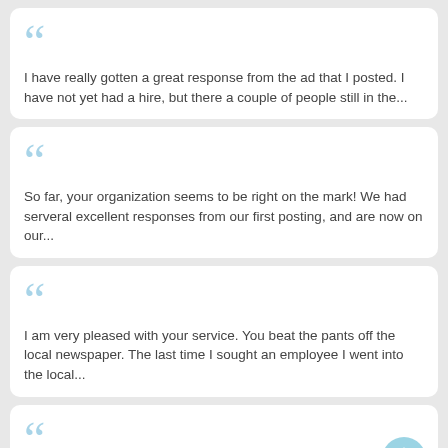I have really gotten a great response from the ad that I posted. I have not yet had a hire, but there a couple of people still in the...
So far, your organization seems to be right on the mark! We had serveral excellent responses from our first posting, and are now on our...
I am very pleased with your service. You beat the pants off the local newspaper. The last time I sought an employee I went into the local...
I checked the ads on Monday, placed my resume, Tuesday got a call back and had my first